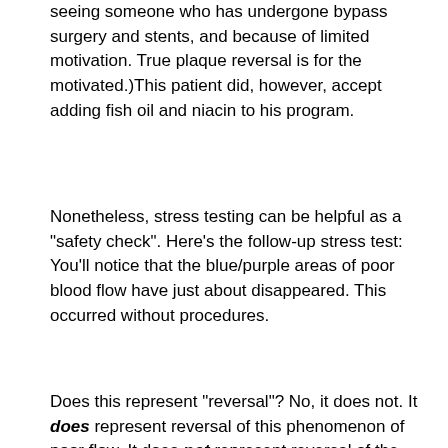seeing someone who has undergone bypass surgery and stents, and because of limited motivation. True plaque reversal is for the motivated.)This patient did, however, accept adding fish oil and niacin to his program.
Nonetheless, stress testing can be helpful as a "safety check". Here's the follow-up stress test:
You'll notice that the blue/purple areas of poor blood flow have just about disappeared. This occurred without procedures.
Does this represent "reversal"? No, it does not. It does represent reversal of this phenomenon of poor flow. It does not represent reversal of the plaque lining the artery wall. That's because improvement of flow, as in this man, can be achieved with relatively easy efforts, e.g., improvement in diet, statin drugs, blood pressure control, etc. True reversal or reduction of coronary plaque, however, is tougher.